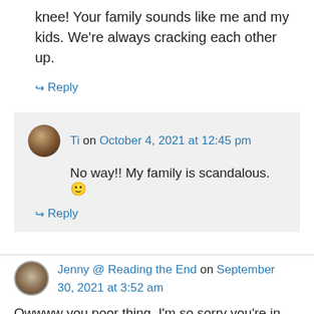knee! Your family sounds like me and my kids. We're always cracking each other up.
↪ Reply
Ti on October 4, 2021 at 12:45 pm
No way!! My family is scandalous. 🙂
↪ Reply
Jenny @ Reading the End on September 30, 2021 at 3:52 am
Owwww you poor thing, I'm so sorry you're in pain. But glad you got to do an outing — I miss people watching almost as much as going…